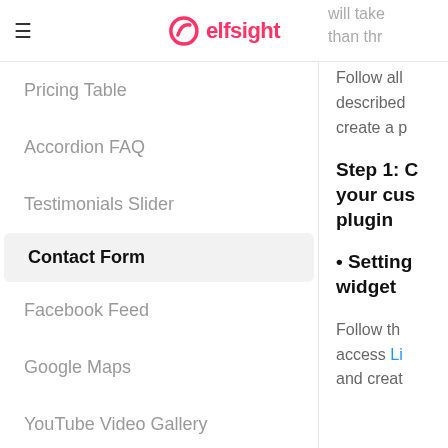elfsight
Pricing Table
Accordion FAQ
Testimonials Slider
Contact Form
Facebook Feed
Google Maps
YouTube Video Gallery
Instagram Feed
Countdown Timer
will take... than thr...
Follow all described... create a p...
Step 1: C... your cus... plugin
• Setting... widget
Follow th... access Li... and creat...